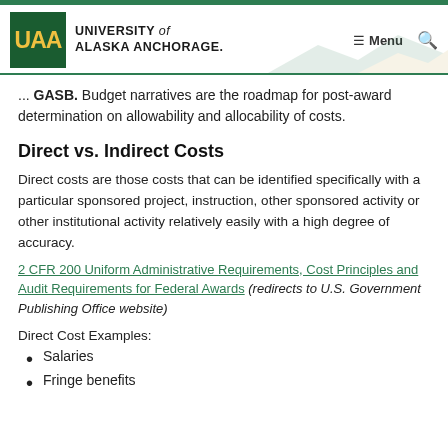University of Alaska Anchorage — Menu
...GASB. Budget narratives are the roadmap for post-award determination on allowability and allocability of costs.
Direct vs. Indirect Costs
Direct costs are those costs that can be identified specifically with a particular sponsored project, instruction, other sponsored activity or other institutional activity relatively easily with a high degree of accuracy.
2 CFR 200 Uniform Administrative Requirements, Cost Principles and Audit Requirements for Federal Awards (redirects to U.S. Government Publishing Office website)
Direct Cost Examples:
Salaries
Fringe benefits